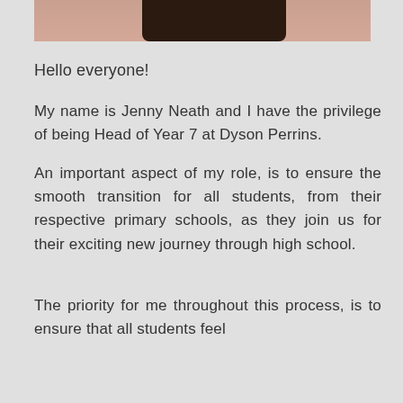[Figure (photo): Partial photo of a person (Jenny Neath) showing hair and skin at top of page]
Hello everyone!
My name is Jenny Neath and I have the privilege of being Head of Year 7 at Dyson Perrins.
An important aspect of my role, is to ensure the smooth transition for all students, from their respective primary schools, as they join us for their exciting new journey through high school.
The priority for me throughout this process, is to ensure that all students feel